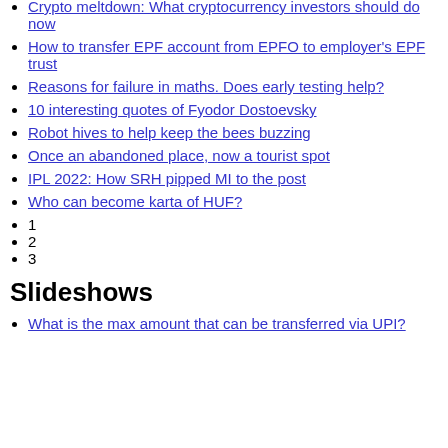Crypto meltdown: What cryptocurrency investors should do now
How to transfer EPF account from EPFO to employer's EPF trust
Reasons for failure in maths. Does early testing help?
10 interesting quotes of Fyodor Dostoevsky
Robot hives to help keep the bees buzzing
Once an abandoned place, now a tourist spot
IPL 2022: How SRH pipped MI to the post
Who can become karta of HUF?
1
2
3
Slideshows
What is the max amount that can be transferred via UPI?